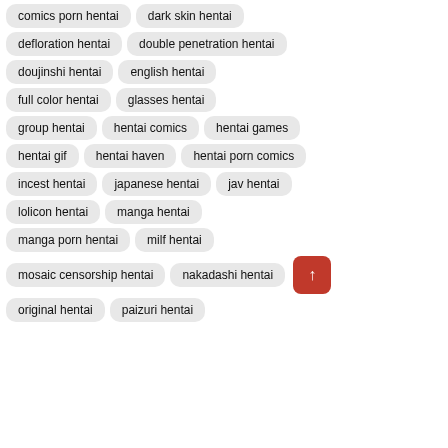comics porn hentai
dark skin hentai
defloration hentai
double penetration hentai
doujinshi hentai
english hentai
full color hentai
glasses hentai
group hentai
hentai comics
hentai games
hentai gif
hentai haven
hentai porn comics
incest hentai
japanese hentai
jav hentai
lolicon hentai
manga hentai
manga porn hentai
milf hentai
mosaic censorship hentai
nakadashi hentai
original hentai
paizuri hentai